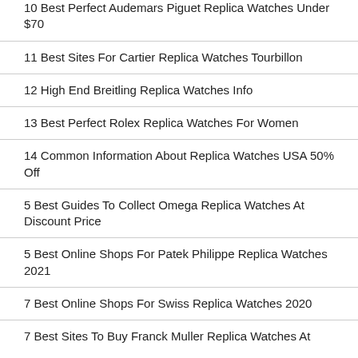10 Best Perfect Audemars Piguet Replica Watches Under $70
11 Best Sites For Cartier Replica Watches Tourbillon
12 High End Breitling Replica Watches Info
13 Best Perfect Rolex Replica Watches For Women
14 Common Information About Replica Watches USA 50% Off
5 Best Guides To Collect Omega Replica Watches At Discount Price
5 Best Online Shops For Patek Philippe Replica Watches 2021
7 Best Online Shops For Swiss Replica Watches 2020
7 Best Sites To Buy Franck Muller Replica Watches At